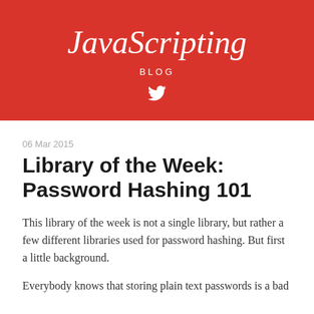JavaScripting BLOG
06 Mar 2015
Library of the Week: Password Hashing 101
This library of the week is not a single library, but rather a few different libraries used for password hashing. But first a little background.
Everybody knows that storing plain text passwords is a bad